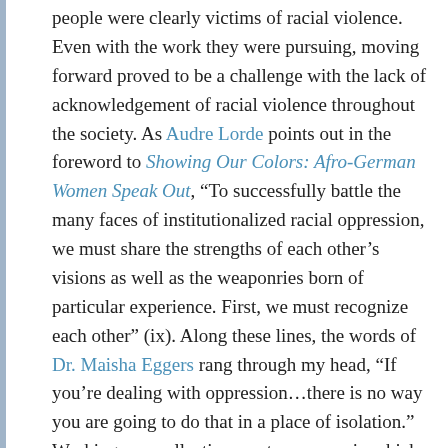people were clearly victims of racial violence. Even with the work they were pursuing, moving forward proved to be a challenge with the lack of acknowledgement of racial violence throughout the society. As Audre Lorde points out in the foreword to Showing Our Colors: Afro-German Women Speak Out, "To successfully battle the many faces of institutionalized racial oppression, we must share the strengths of each other's visions as well as the weaponries born of particular experience. First, we must recognize each other" (ix). Along these lines, the words of Dr. Maisha Eggers rang through my head, "If you're dealing with oppression...there is no way you are going to do that in a place of isolation." Working as a collective creates a space in which